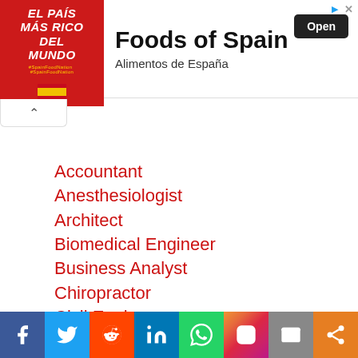[Figure (infographic): Advertisement banner for 'Foods of Spain / Alimentos de España' with red left panel showing 'EL PAÍS MÁS RICO DEL MUNDO' text and Spanish flag, and white right panel with bold title 'Foods of Spain', subtitle 'Alimentos de España', and 'Open' button.]
Accountant
Anesthesiologist
Architect
Biomedical Engineer
Business Analyst
Chiropractor
Civil Engineer
CNA
Computer Engineer
Computer Science
[Figure (infographic): Social media sharing bar with icons for Facebook, Twitter, Reddit, LinkedIn, WhatsApp, Instagram, Email, and Share.]